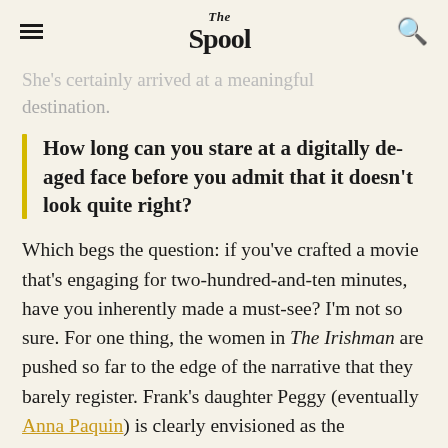The Spool
She's certainly arrived at a meaningful destination.
How long can you stare at a digitally de-aged face before you admit that it doesn't look quite right?
Which begs the question: if you've crafted a movie that's engaging for two-hundred-and-ten minutes, have you inherently made a must-see? I'm not so sure. For one thing, the women in The Irishman are pushed so far to the edge of the narrative that they barely register. Frank's daughter Peggy (eventually Anna Paquin) is clearly envisioned as the